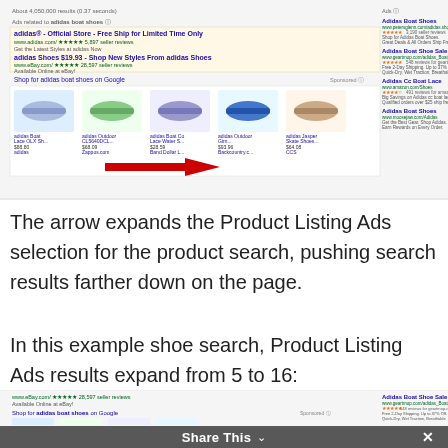[Figure (screenshot): Google search results screenshot showing ads for 'adidas boat shoes' with product listing ads row containing shoe images and a red arrow pointing right indicating expansion of results. Right sidebar shows additional Adidas ads.]
The arrow expands the Product Listing Ads selection for the product search, pushing search results farther down on the page.
In this example shoe search, Product Listing Ads results expand from 5 to 16:
[Figure (screenshot): Bottom portion of Google search results showing expanded Product Listing Ads with shoe images and right sidebar Adidas ads including Adidas Boat Shoe Sale and Adidas Cc Boat Lace listings.]
Share This ∨  ×